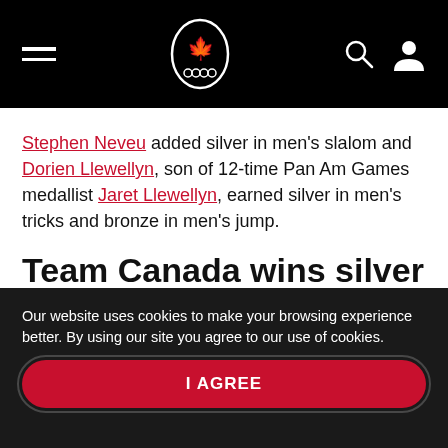[Team Canada Olympics navigation header with hamburger menu, logo, search and user icons]
Stephen Neveu added silver in men's slalom and Dorien Llewellyn, son of 12-time Pan Am Games medallist Jaret Llewellyn, earned silver in men's tricks and bronze in men's jump.
Team Canada wins silver in a new Olympic event
Our website uses cookies to make your browsing experience better. By using our site you agree to our use of cookies.
I AGREE